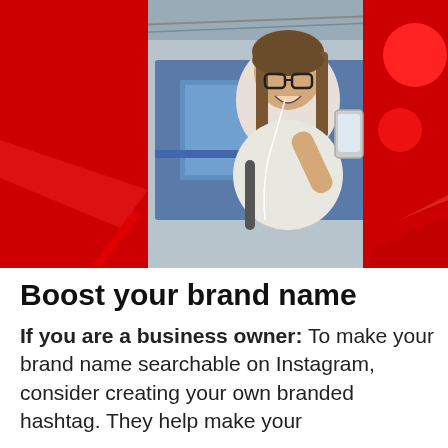[Figure (photo): Woman with glasses and earphones laughing while taking a selfie with a smartphone at a train platform. Red decorative graphic overlays on the left and right sides of the image including chevron/arrow shapes and circles.]
Boost your brand name
If you are a business owner: To make your brand name searchable on Instagram, consider creating your own branded hashtag. They help make your